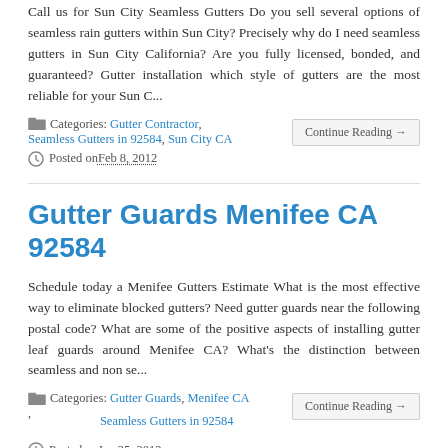Call us for Sun City Seamless Gutters Do you sell several options of seamless rain gutters within Sun City? Precisely why do I need seamless gutters in Sun City California? Are you fully licensed, bonded, and guaranteed? Gutter installation which style of gutters are the most reliable for your Sun C...
Categories: Gutter Contractor, Seamless Gutters in 92584, Sun City CA
Posted on Feb 8, 2012
Gutter Guards Menifee CA 92584
Schedule today a Menifee Gutters Estimate What is the most effective way to eliminate blocked gutters? Need gutter guards near the following postal code? What are some of the positive aspects of installing gutter leaf guards around Menifee CA? What's the distinction between seamless and non se...
Categories: Gutter Guards, Menifee CA, Seamless Gutters in 92584
Posted on Jan 25, 2012